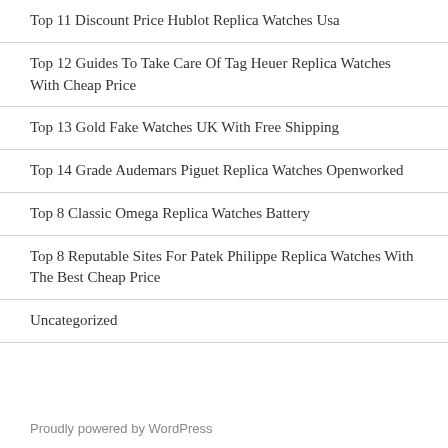Top 11 Discount Price Hublot Replica Watches Usa
Top 12 Guides To Take Care Of Tag Heuer Replica Watches With Cheap Price
Top 13 Gold Fake Watches UK With Free Shipping
Top 14 Grade Audemars Piguet Replica Watches Openworked
Top 8 Classic Omega Replica Watches Battery
Top 8 Reputable Sites For Patek Philippe Replica Watches With The Best Cheap Price
Uncategorized
Proudly powered by WordPress